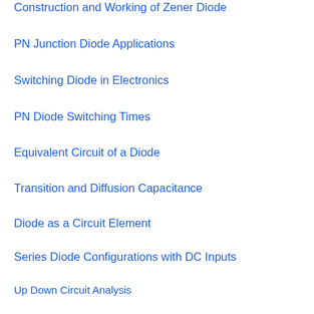Construction and Working of Zener Diode
PN Junction Diode Applications
Switching Diode in Electronics
PN Diode Switching Times
Equivalent Circuit of a Diode
Transition and Diffusion Capacitance
Diode as a Circuit Element
Series Diode Configurations with DC Inputs
Up Down Circuit Analysis
What is Real Diode?
What is Diode Resistance?
To Remaining...